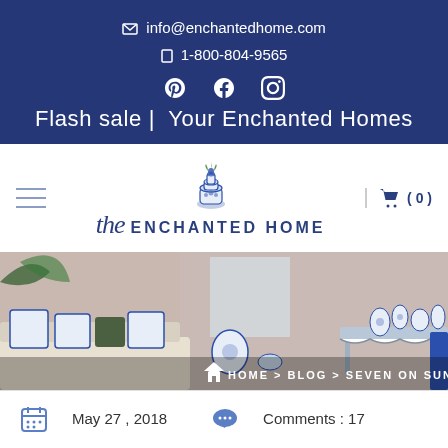✉ info@enchantedhome.com  ☎ 1-800-804-9565  [social icons: Pinterest, Facebook, Instagram]  Flash sale | Your Enchanted Homes
[Figure (logo): The Enchanted Home logo with blue ginger jar topper, script 'the' and uppercase 'ENCHANTED HOME' text, hamburger menu icon, cart icon showing (0)]
[Figure (photo): Interior living room scene with blue and white chinoiserie pillows on sofa, blue and white ginger jars on console table, brick wall background]
HOME > BLOG > SEVEN ON SUNDAY
May 27, 2018     Comments : 17